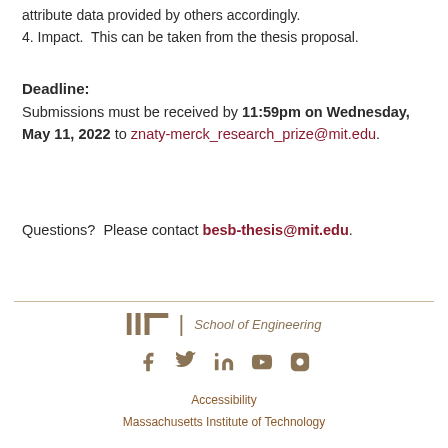attribute data provided by others accordingly.
4. Impact.  This can be taken from the thesis proposal.
Deadline:
Submissions must be received by 11:59pm on Wednesday, May 11, 2022 to znaty-merck_research_prize@mit.edu.
Questions?  Please contact besb-thesis@mit.edu.
MIT School of Engineering | Accessibility | Massachusetts Institute of Technology